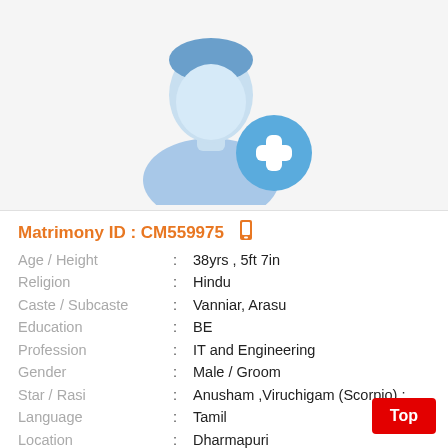[Figure (illustration): Male silhouette profile placeholder with a blue circular add/plus button overlay at bottom right]
Matrimony ID : CM559975 [phone icon]
Age / Height : 38yrs , 5ft 7in
Religion : Hindu
Caste / Subcaste : Vanniar, Arasu
Education : BE
Profession : IT and Engineering
Gender : Male / Groom
Star / Rasi : Anusham ,Viruchigam (Scorpio) ;
Language : Tamil
Location : Dharmapuri
District : Dharmapuri
State : Tamil Nadu